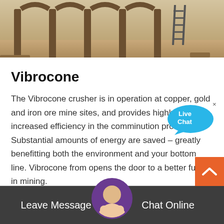[Figure (photo): Photograph of an industrial or mining site showing stone arches/columns in a dusty environment with a ladder visible in the background]
Vibrocone
The Vibrocone crusher is in operation at copper, gold and iron ore mine sites, and provides highly increased efficiency in the comminution process. Substantial amounts of energy are saved – greatly benefitting both the environment and your bottom line. Vibrocone from opens the door to a better future in mining.
Read More
Leave Message
Chat Online